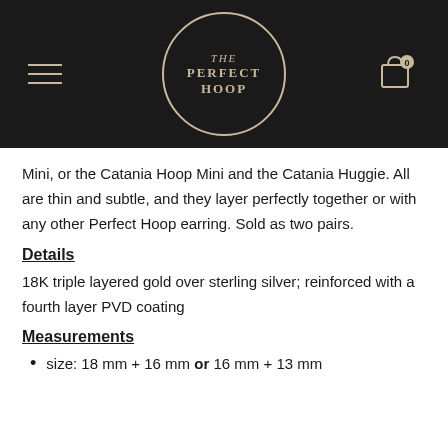[Figure (logo): The Perfect Hoop logo — circular badge with cream border on black background, text reads THE PERFECT HOOP in serif capitals, with hamburger menu icon on left and cart icon with '0' on right]
Mini, or the Catania Hoop Mini and the Catania Huggie. All are thin and subtle, and they layer perfectly together or with any other Perfect Hoop earring. Sold as two pairs.
Details
18K triple layered gold over sterling silver; reinforced with a fourth layer PVD coating
Measurements
size: 18 mm + 16 mm or 16 mm + 13 mm